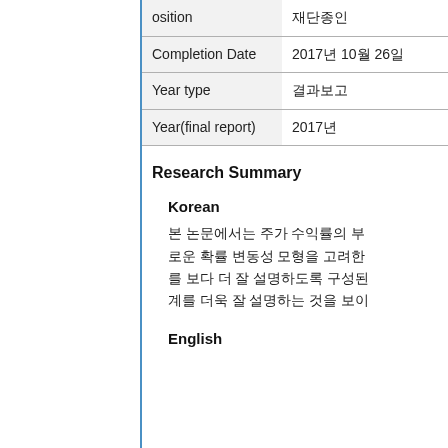| Field | Value |
| --- | --- |
| osition | 재단종인 |
| Completion Date | 2017년 10월 26일 |
| Year type | 결과보고 |
| Year(final report) | 2017년 |
Research Summary
Korean
본 논문에서는 주가 수익률의 부로운 확률 변동성 모형을 고려한를 보다 더 잘 설명하도록 구성된계를 더욱 잘 설명하는 것을 보이
English